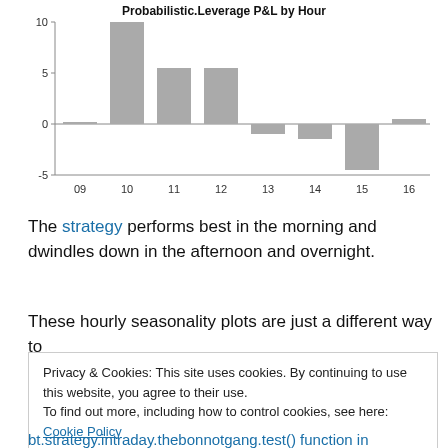[Figure (bar-chart): Probabilistic.Leverage P&L by Hour]
The strategy performs best in the morning and dwindles down in the afternoon and overnight.
These hourly seasonality plots are just a different way to
Privacy & Cookies: This site uses cookies. By continuing to use this website, you agree to their use.
To find out more, including how to control cookies, see here: Cookie Policy
bt.strategy.intraday.thebonnotgang.test() function in